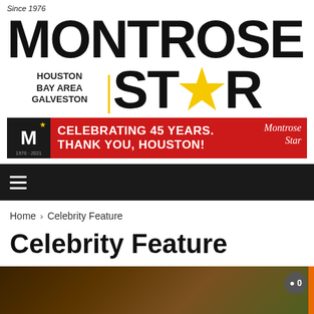Since 1976 MONTROSE HOUSTON BAY AREA GALVESTON STAR
[Figure (infographic): Montrose Star newspaper advertisement banner: black M logo box with gold star, red background, text 'CELEBRATING 45 YEARS. THANK YOU, HOUSTON!' with Montrose Star script logo]
≡ (hamburger navigation menu)
Home > Celebrity Feature
Celebrity Feature
[Figure (photo): Partial photo of a person, appears to be a celebrity feature image, with a comment bubble showing 0 comments and an orange sidebar element]